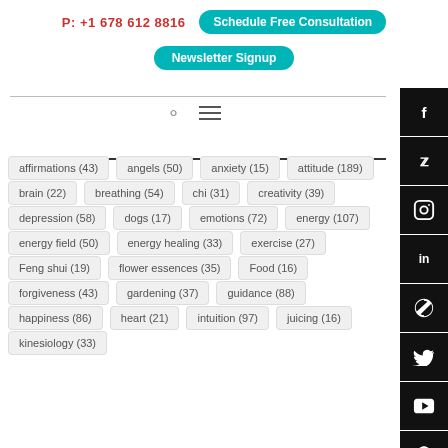P: +1 678 612 8816
Schedule Free Consultation
Newsletter Signup
affirmations (43)
angels (50)
anxiety (15)
attitude (189)
brain (22)
breathing (54)
chi (31)
creativity (39)
depression (58)
dogs (17)
emotions (72)
energy (107)
energy field (50)
energy healing (33)
exercise (27)
Feng shui (19)
flower essences (35)
Food (16)
forgiveness (43)
gardening (37)
guidance (88)
happiness (86)
heart (21)
intuition (97)
juicing (16)
kinesiology (33)